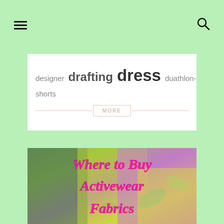☰ (menu icon) and 🔍 (search icon)
designer  drafting  dress  duathlon-shorts
MORE
[Figure (photo): Photo of colorful activewear fabrics (green, purple, yellow with leaf patterns) with overlaid magenta script text reading 'Where to Buy Activewear Fabrics']